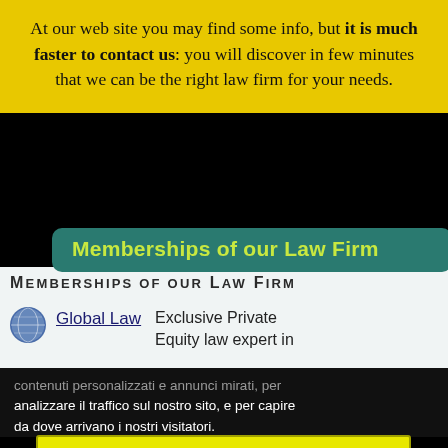At our web site you may find some info, but it is much faster to contact us: you will discover in few minutes that we can be the right law firm for your needs.
Memberships of our Law Firm
MEMBERSHIPS OF OUR LAW FIRM
Global Law   Exclusive Private Equity law expert in
contenuti personalizzati e annunci mirati, per analizzare il traffico sul nostro sito, e per capire da dove arrivano i nostri visitatori.
Accetto
Rifiuto
Cambia le mie impostazioni